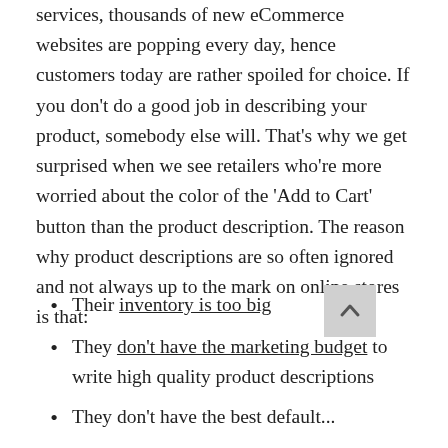services, thousands of new eCommerce websites are popping every day, hence customers today are rather spoiled for choice. If you don't do a good job in describing your product, somebody else will. That's why we get surprised when we see retailers who're more worried about the color of the 'Add to Cart' button than the product description. The reason why product descriptions are so often ignored and not always up to the mark on online stores is that:
Their inventory is too big
They don't have the marketing budget to write high quality product descriptions
They don't have the best default...